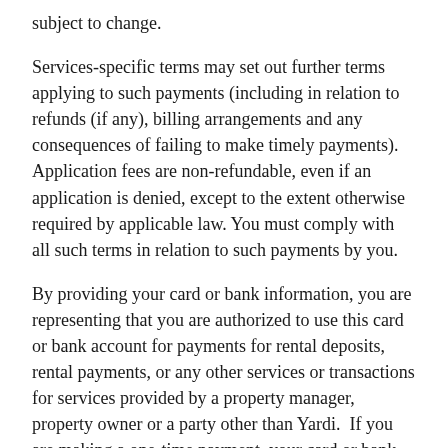subject to change.
Services-specific terms may set out further terms applying to such payments (including in relation to refunds (if any), billing arrangements and any consequences of failing to make timely payments). Application fees are non-refundable, even if an application is denied, except to the extent otherwise required by applicable law. You must comply with all such terms in relation to such payments by you.
By providing your card or bank information, you are representing that you are authorized to use this card or bank account for payments for rental deposits, rental payments, or any other services or transactions for services provided by a property manager, property owner or a party other than Yardi. If you are making a one-time payment, your card or bank information will not be stored after completion of the transaction, but any other